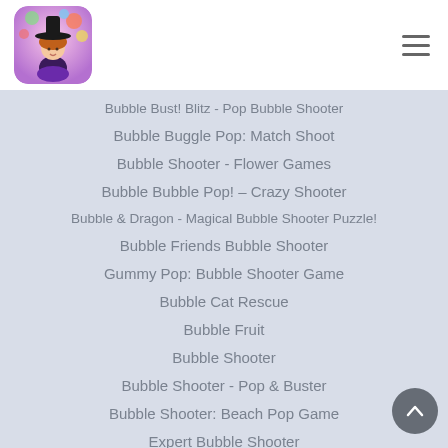[Figure (illustration): App icon: cartoon girl in witch hat with colorful bubbles background]
Bubble Bust! Blitz - Pop Bubble Shooter
Bubble Buggle Pop: Match Shoot
Bubble Shooter - Flower Games
Bubble Bubble Pop! – Crazy Shooter
Bubble & Dragon - Magical Bubble Shooter Puzzle!
Bubble Friends Bubble Shooter
Gummy Pop: Bubble Shooter Game
Bubble Cat Rescue
Bubble Fruit
Bubble Shooter
Bubble Shooter - Pop & Buster
Bubble Shooter: Beach Pop Game
Expert Bubble Shooter